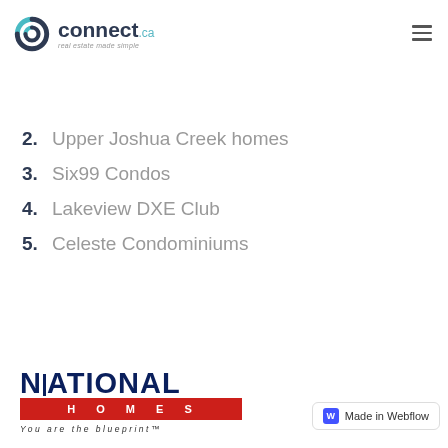connect.ca real estate made simple
2. Upper Joshua Creek homes
3. Six99 Condos
4. Lakeview DXE Club
5. Celeste Condominiums
[Figure (logo): National Homes logo — NATIONAL in dark blue bold letters, HOMES in white on red bar, tagline: You are the blueprint™]
[Figure (logo): Made in Webflow badge with W icon]